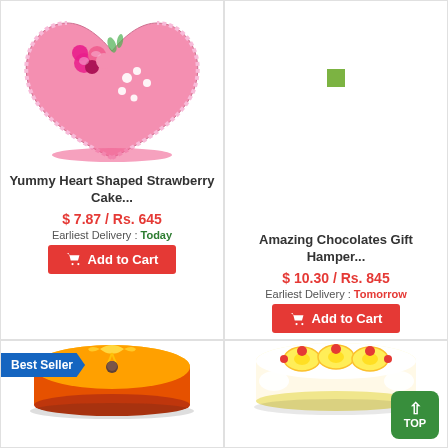[Figure (photo): Pink heart-shaped strawberry cake with pink rose decorations and white flower details]
Yummy Heart Shaped Strawberry Cake...
$ 7.87 / Rs. 645
Earliest Delivery : Today
Add to Cart
[Figure (photo): Amazing Chocolates Gift Hamper product image placeholder with green square indicator]
Amazing Chocolates Gift Hamper...
$ 10.30 / Rs. 845
Earliest Delivery : Tomorrow
Add to Cart
[Figure (photo): Best Seller orange/mango round cake with yellow ribbon decoration]
[Figure (photo): White cream cake with pineapple slices and cherries on top]